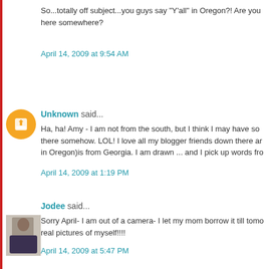So...totally off subject...you guys say "Y'all" in Oregon?! Are you here somewhere?
April 14, 2009 at 9:54 AM
Unknown said...
Ha, ha! Amy - I am not from the south, but I think I may have some southern in there somehow. LOL! I love all my blogger friends down there and my best friend (who lives in Oregon)is from Georgia. I am drawn ... and I pick up words fro
April 14, 2009 at 1:19 PM
Jodee said...
Sorry April- I am out of a camera- I let my mom borrow it till tomo real pictures of myself!!!!
April 14, 2009 at 5:47 PM
Post a Comment
Newer Post
Home